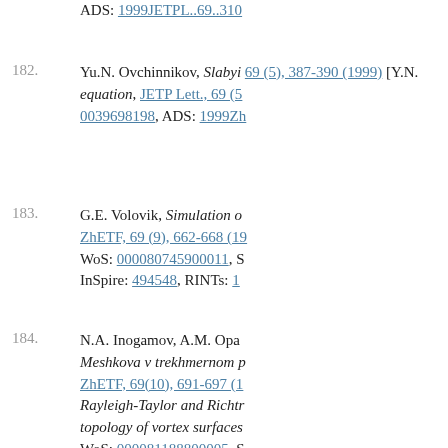ADS: 1999JETPL..69..310
182. Yu.N. Ovchinnikov, Slabyi... ZhETF, 69 (5), 387-390 (1999) [Y.N. ... equation, JETP Lett., 69 (5)... 0039698198, ADS: 1999Zh...
183. G.E. Volovik, Simulation o... ZhETF, 69 (9), 662-668 (19... WoS: 000080745900011, S... InSpire: 494548, RINTs: 1...
184. N.A. Inogamov, A.M. Opa... Meshkova v trekhmernom p... ZhETF, 69(10), 691-697 (1... Rayleigh-Taylor and Richtr... topology of vortex surfaces... WoS: 000081188800005, S... RINTs: 13311313.